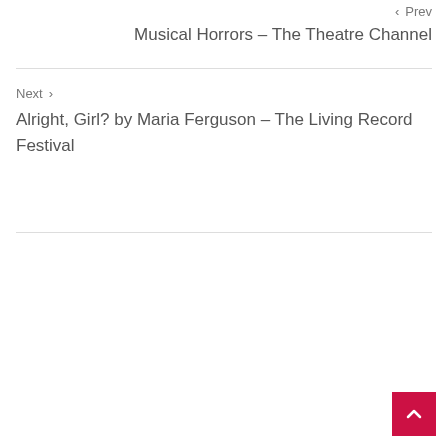‹ Prev
Musical Horrors – The Theatre Channel
Next ›
Alright, Girl? by Maria Ferguson – The Living Record Festival